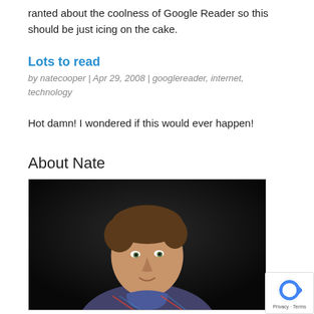ranted about the coolness of Google Reader so this should be just icing on the cake.
Lots to read
by natecooper | Apr 29, 2008 | googlereader, internet, technology
Hot damn! I wondered if this would ever happen!
About Nate
[Figure (photo): Portrait photo of a man (Nate) wearing a plaid shirt, dark background, looking slightly upward and to the side.]